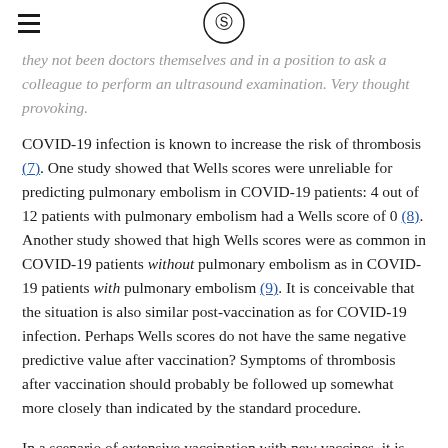[hamburger menu icon] [caduceus logo]
they not been doctors themselves and in a position to ask a colleague to perform an ultrasound examination. Very thought provoking.
COVID-19 infection is known to increase the risk of thrombosis (7). One study showed that Wells scores were unreliable for predicting pulmonary embolism in COVID-19 patients: 4 out of 12 patients with pulmonary embolism had a Wells score of 0 (8). Another study showed that high Wells scores were as common in COVID-19 patients without pulmonary embolism as in COVID-19 patients with pulmonary embolism (9). It is conceivable that the situation is also similar post-vaccination as for COVID-19 infection. Perhaps Wells scores do not have the same negative predictive value after vaccination? Symptoms of thrombosis after vaccination should probably be followed up somewhat more closely than indicated by the standard procedure.
In a scenario of extensive vaccination with new vaccines, it is vital that both patients and doctors are vigilant. Suspected new, unexpected adverse effects must be reported.